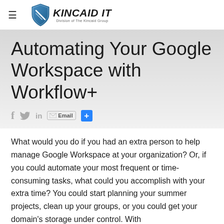≡ KINCAID IT — Division of The Kincaid Group
Automating Your Google Workspace with Workflow+
[Figure (infographic): Social sharing icons row: Facebook (f), Twitter (bird), LinkedIn (in), Email button, Plus button]
What would you do if you had an extra person to help manage Google Workspace at your organization? Or, if you could automate your most frequent or time-consuming tasks, what could you accomplish with your extra time? You could start planning your summer projects, clean up your groups, or you could get your domain's storage under control. With